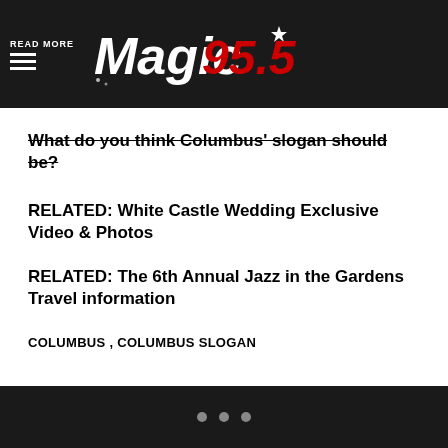READ MORE — Magic 95.5
What do you think Columbus' slogan should be?
RELATED: White Castle Wedding Exclusive Video & Photos
RELATED: The 6th Annual Jazz in the Gardens Travel information
COLUMBUS , COLUMBUS SLOGAN
• • •